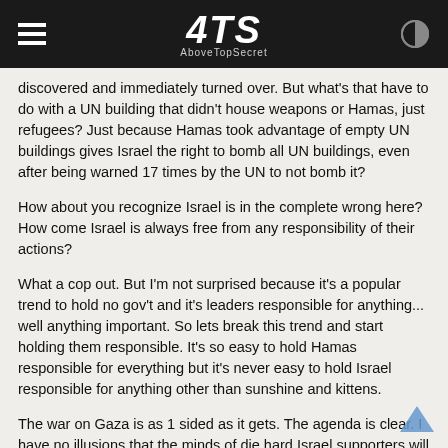4TS AboveTopSecret
discovered and immediately turned over. But what's that have to do with a UN building that didn't house weapons or Hamas, just refugees? Just because Hamas took advantage of empty UN buildings gives Israel the right to bomb all UN buildings, even after being warned 17 times by the UN to not bomb it?
How about you recognize Israel is in the complete wrong here? How come Israel is always free from any responsibility of their actions?
What a cop out. But I'm not surprised because it's a popular trend to hold no gov't and it's leaders responsible for anything... well anything important. So lets break this trend and start holding them responsible. It's so easy to hold Hamas responsible for everything but it's never easy to hold Israel responsible for anything other than sunshine and kittens.
The war on Gaza is as 1 sided as it gets. The agenda is clear. I have no illusions that the minds of die hard Israel supporters will ever be changed. These threads aren't for you...